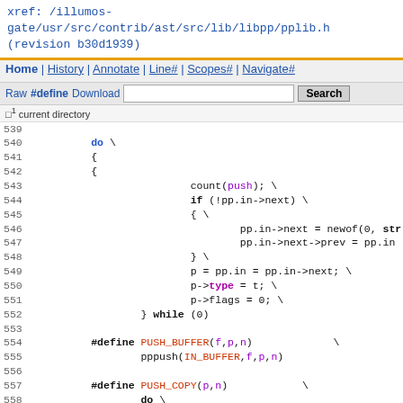xref: /illumos-gate/usr/src/contrib/ast/src/lib/libpp/pplib.h (revision b30d1939)
Home | History | Annotate | Line# | Scopes# | Navigate#
Raw #define Download Search [input]
current directory
Code lines 539-563 from pplib.h